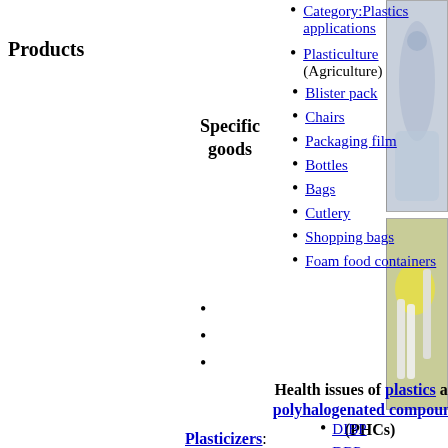Products
Category:Plastics applications
Plasticulture (Agriculture)
Specific goods
Blister pack
Chairs
Packaging film
Bottles
Bags
Cutlery
Shopping bags
Foam food containers
v
t
e
Health issues of plastics and polyhalogenated compounds (PHCs)
Plasticizers:
DIBP
DBP
BBP (BBzP)
DIHP
[Figure (photo): Photo of plastic bottles/containers (top right)]
[Figure (photo): Photo of plastic cutlery/containers (bottom right)]